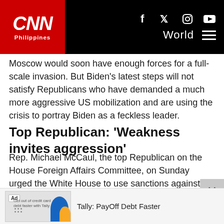CNN Philippines — World
Moscow would soon have enough forces for a full-scale invasion. But Biden's latest steps will not satisfy Republicans who have demanded a much more aggressive US mobilization and are using the crisis to portray Biden as a feckless leader.
Top Republican: 'Weakness invites aggression'
Rep. Michael McCaul, the top Republican on the House Foreign Affairs Committee, on Sunday urged the White House to use sanctions against Russia before any invasion as requested by the government of Ukraine.
"If we don't do something strong right now, I'm afraid that he's going to invade Ukraine, which will have global ramifications here," the Texas Republican said on CBS's "Face the Nation."
[Figure (other): Advertisement banner for Tally: PayOff Debt Faster app with logo and ad badge]